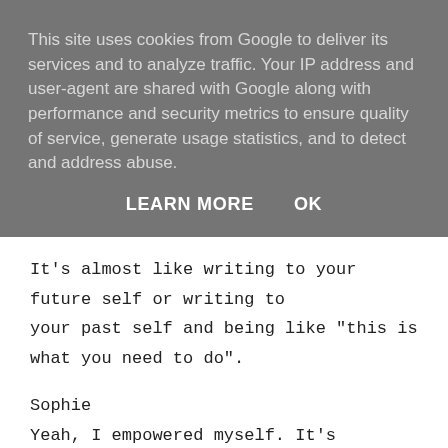This site uses cookies from Google to deliver its services and to analyze traffic. Your IP address and user-agent are shared with Google along with performance and security metrics to ensure quality of service, generate usage statistics, and to detect and address abuse.
LEARN MORE    OK
It's almost like writing to your future self or writing to your past self and being like "this is what you need to do".
Sophie
Yeah, I empowered myself. It's listening to your own advice. I was saying what I would say to someone else in that situation.